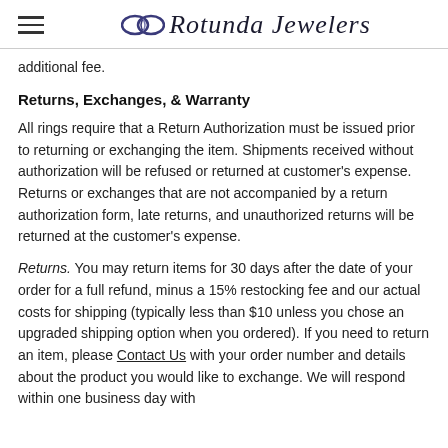≡  Rotunda Jewelers
additional fee.
Returns, Exchanges, & Warranty
All rings require that a Return Authorization must be issued prior to returning or exchanging the item. Shipments received without authorization will be refused or returned at customer's expense. Returns or exchanges that are not accompanied by a return authorization form, late returns, and unauthorized returns will be returned at the customer's expense.
Returns. You may return items for 30 days after the date of your order for a full refund, minus a 15% restocking fee and our actual costs for shipping (typically less than $10 unless you chose an upgraded shipping option when you ordered). If you need to return an item, please Contact Us with your order number and details about the product you would like to exchange. We will respond within one business day with